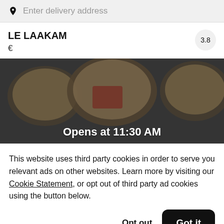Enter delivery address
LE LAAKAM
€
3.8
[Figure (photo): Overhead photo of food dishes including bowls of rice/noodle dishes on a dark table, with a dark overlay. Text overlay reads 'Opens at 11:30 AM']
This website uses third party cookies in order to serve you relevant ads on other websites. Learn more by visiting our Cookie Statement, or opt out of third party ad cookies using the button below.
Opt out
Got it